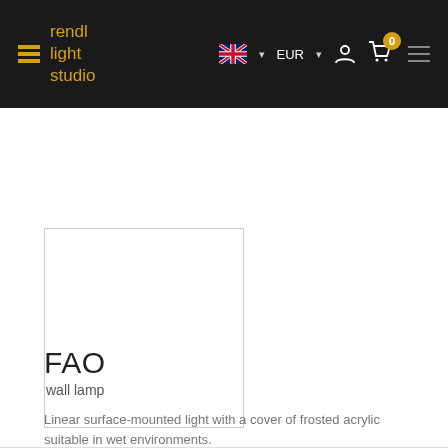rendl light studio — EUR — navigation header
[Figure (photo): Product image placeholder: white rectangle with a thin grey border, no product visible (image not loaded)]
FAO
wall lamp
Linear surface-mounted light with a cover of frosted acrylic suitable in wet environments.